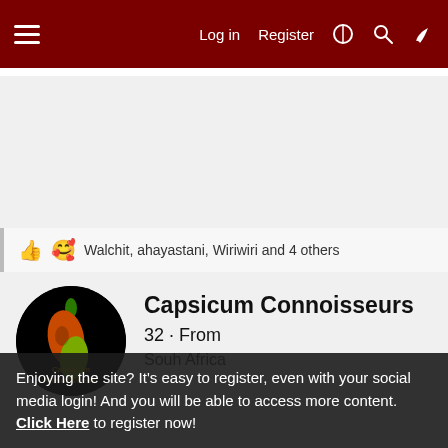Log in  Register
Walchit, ahayastani, Wiriwiri and 4 others
[Figure (illustration): Circular avatar logo for Capsicum Connoisseurs showing a multi-colored pepper on black background with text 'Capsicum Connoisseurs' in yellow/gold]
Capsicum Connoisseurs 32 · From Souh Africa
Enjoying the site? It's easy to register, even with your social media login! And you will be able to access more content. Click Here to register now!